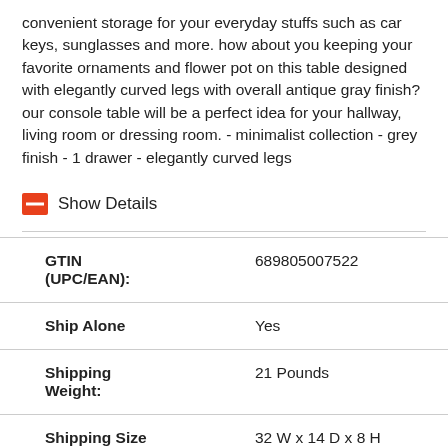convenient storage for your everyday stuffs such as car keys, sunglasses and more. how about you keeping your favorite ornaments and flower pot on this table designed with elegantly curved legs with overall antique gray finish? our console table will be a perfect idea for your hallway, living room or dressing room. - minimalist collection - grey finish - 1 drawer - elegantly curved legs
Show Details
| GTIN (UPC/EAN): | 689805007522 |
| Ship Alone | Yes |
| Shipping Weight: | 21 Pounds |
| Shipping Size (Inches ): | 32 W x 14 D x 8 H |